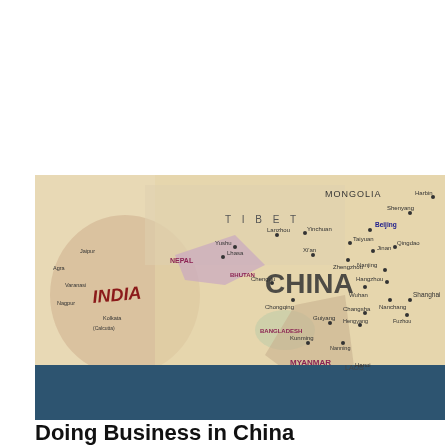[Figure (map): A physical/political map showing China and surrounding regions including India, Nepal, Bhutan, Bangladesh, Myanmar, Laos, Mongolia, and parts of other neighboring countries. Major Chinese cities labeled include Beijing, Shanghai, Chengdu, Chongqing, Wuhan, Nanjing, Hangzhou, Xi'an, Lanzhou, Kunming, Guiyang, Nanchang, and others. India, Tibet, and other regional labels visible.]
Doing Business in China